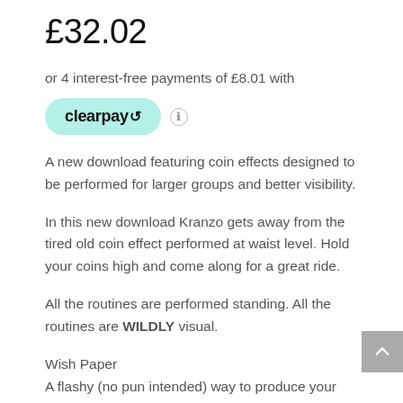£32.02
or 4 interest-free payments of £8.01 with
[Figure (logo): Clearpay logo badge in mint green with text 'clearpay' and arrows icon]
A new download featuring coin effects designed to be performed for larger groups and better visibility.
In this new download Kranzo gets away from the tired old coin effect performed at waist level. Hold your coins high and come along for a great ride.
All the routines are performed standing. All the routines are WILDLY visual.
Wish Paper
A flashy (no pun intended) way to produce your coins. The last coin will surprise them EVERY time. Nathan